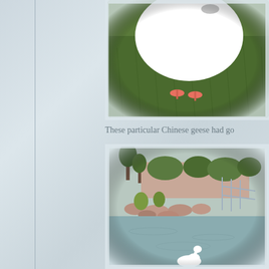[Figure (photo): Close-up photo of a white Chinese goose on green grass, beak pointed downward, with pink/orange feet visible]
These particular Chinese geese had go
[Figure (photo): Photo of a pond or lake with geese swimming, landscape background showing rocks, shrubs, trees, and a fence/railing structure]